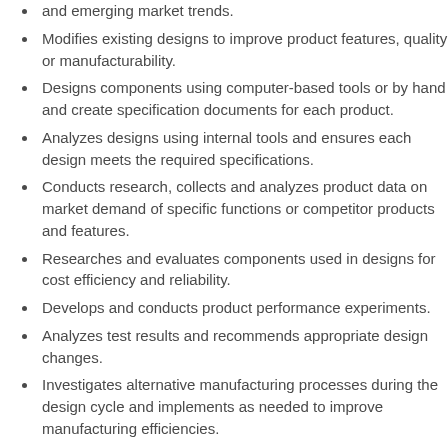and emerging market trends.
Modifies existing designs to improve product features, quality or manufacturability.
Designs components using computer-based tools or by hand and create specification documents for each product.
Analyzes designs using internal tools and ensures each design meets the required specifications.
Conducts research, collects and analyzes product data on market demand of specific functions or competitor products and features.
Researches and evaluates components used in designs for cost efficiency and reliability.
Develops and conducts product performance experiments.
Analyzes test results and recommends appropriate design changes.
Investigates alternative manufacturing processes during the design cycle and implements as needed to improve manufacturing efficiencies.
Works with Manufacturing and Quality Control teams to help ensure that finished products meet the original design specifications.
Supports Manufacturing with process improvements and assists in the training of new product and assembly procedures.
Creates prototypes and assists in the development of test and fixture f...